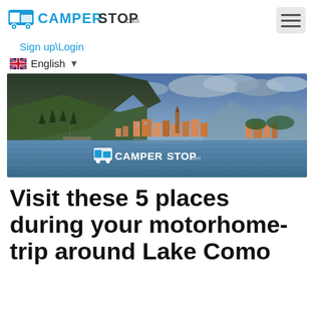CAMPERSTOP.com
Sign up\Login
English
[Figure (photo): Scenic view of Lake Como, Italy — colorful buildings on the lakefront with mountains and dramatic cloudy sky in the background. CAMPERSTOP.com logo overlaid at bottom center.]
Visit these 5 places during your motorhome-trip around Lake Como